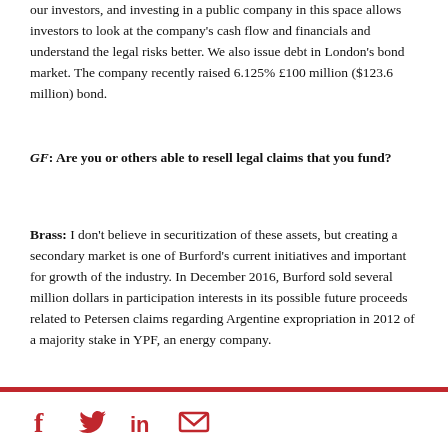our investors, and investing in a public company in this space allows investors to look at the company's cash flow and financials and understand the legal risks better. We also issue debt in London's bond market. The company recently raised 6.125% £100 million ($123.6 million) bond.
GF: Are you or others able to resell legal claims that you fund?
Brass: I don't believe in securitization of these assets, but creating a secondary market is one of Burford's current initiatives and important for growth of the industry. In December 2016, Burford sold several million dollars in participation interests in its possible future proceeds related to Petersen claims regarding Argentine expropriation in 2012 of a majority stake in YPF, an energy company.
Social media icons: Facebook, Twitter, LinkedIn, Email